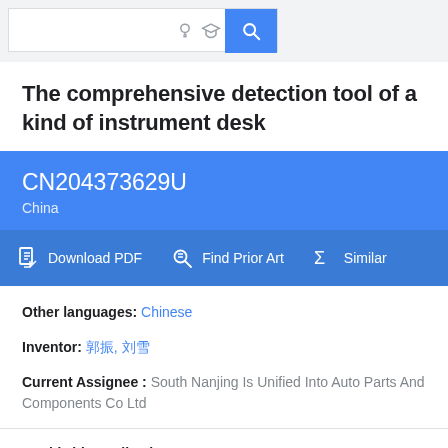Search bar with icons
The comprehensive detection tool of a kind of instrument desk
CN204373629U
China
Download PDF  Find Prior Art  Similar
Other languages: Chinese
Inventor: 郭振, 刘雪
Current Assignee : South Nanjing Is Unified Into Auto Parts And Components Co Ltd
Worldwide applications